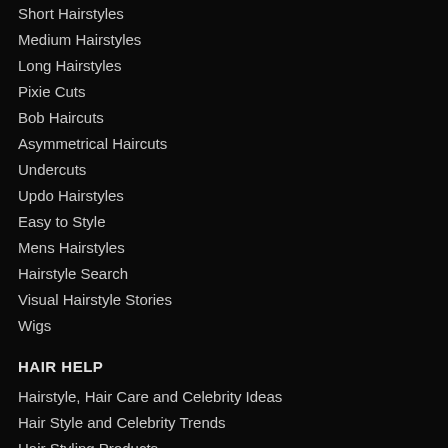Short Hairstyles
Medium Hairstyles
Long Hairstyles
Pixie Cuts
Bob Haircuts
Asymmetrical Haircuts
Undercuts
Updo Hairstyles
Easy to Style
Mens Hairstyles
Hairstyle Search
Visual Hairstyle Stories
Wigs
HAIR HELP
Hairstyle, Hair Care and Celebrity Ideas
Hair Style and Celebrity Trends
Hair Styling Products
Hair Styling Questions and Answers
Hair Tips and Advice